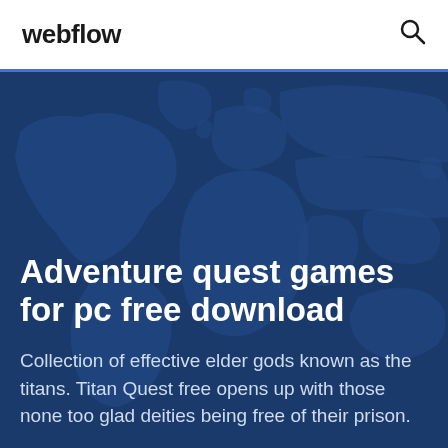webflow
Adventure quest games for pc free download
Collection of effective elder gods known as the titans. Titan Quest free opens up with those none too glad deities being free of their prison.